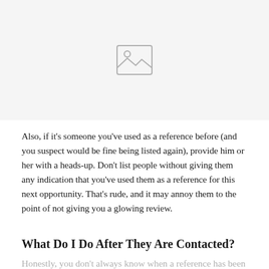[Figure (photo): Image placeholder icon showing a landscape/photo symbol on a light gray background]
Also, if it’s someone you’ve used as a reference before (and you suspect would be fine being listed again), provide him or her with a heads-up. Don’t list people without giving them any indication that you’ve used them as a reference for this next opportunity. That’s rude, and it may annoy them to the point of not giving you a glowing review.
What Do I Do After They Are Contacted?
Honestly, you don’t always know when a reference has been